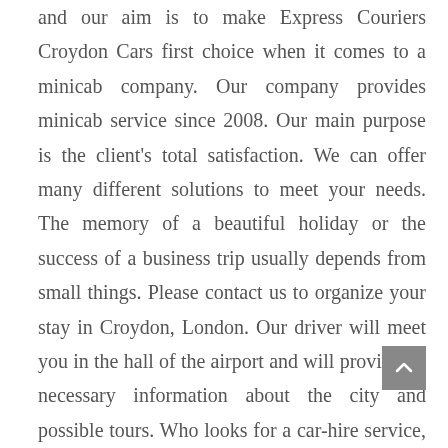and our aim is to make Express Couriers Croydon Cars first choice when it comes to a minicab company. Our company provides minicab service since 2008. Our main purpose is the client's total satisfaction. We can offer many different solutions to meet your needs. The memory of a beautiful holiday or the success of a business trip usually depends from small things. Please contact us to organize your stay in Croydon, London. Our driver will meet you in the hall of the airport and will provide all necessary information about the city and possible tours. Who looks for a car-hire service, first of all, asks is a comfort, reliability, and courtesy. Vehicles must be safe and elegant. That's why we've chosen for our services only Mercedes cars and vans, synonymous of comfort and reliability. By using new technologies, such as GPS navigation system and central station, we meet your needs by reducing